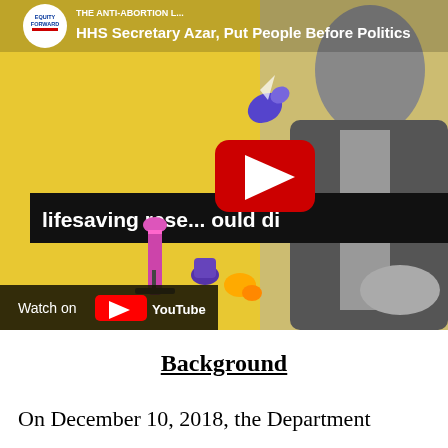[Figure (screenshot): YouTube video thumbnail showing 'THE ANTI-ABORTION L...' title, Equity Forward logo, text 'HHS Secretary Azar, Put People Before Politics', yellow background with laboratory illustration, play button overlay, man in suit (black and white photo), text 'lifesaving research could di...', 'Watch on YouTube' bar at bottom]
Background
On December 10, 2018, the Department